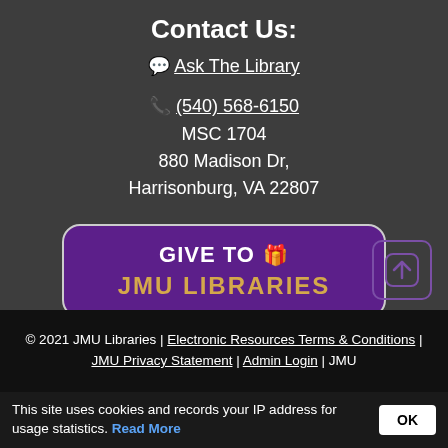Contact Us:
💬 Ask The Library
📞 (540) 568-6150
MSC 1704
880 Madison Dr,
Harrisonburg, VA 22807
[Figure (other): Purple button: GIVE TO 🎁 JMU LIBRARIES]
[Figure (other): Scroll-to-top icon button with upward arrow, purple border]
© 2021 JMU Libraries | Electronic Resources Terms & Conditions | JMU Privacy Statement | Admin Login | JMU
This site uses cookies and records your IP address for usage statistics. Read More OK